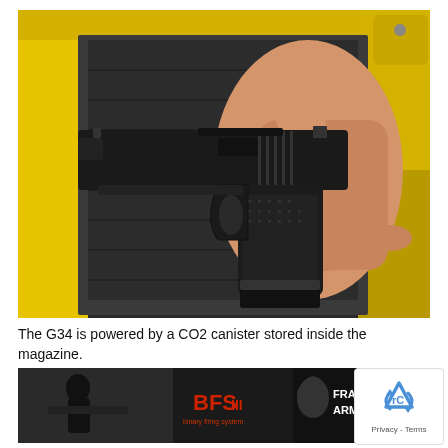[Figure (photo): A hand holding a black Glock G34 pistol against a yellow and gray background, viewed from the left side. The gun is a compact black semi-automatic handgun with textured grip.]
The G34 is powered by a CO2 canister stored inside the magazine.
[Figure (photo): Advertisement banner for Franklin Armory featuring a person holding a rifle, the BFS III binary firing system logo, and the Franklin Armory logo with a profile silhouette.]
[Figure (other): Google reCAPTCHA widget with the reCAPTCHA logo and Privacy - Terms text.]